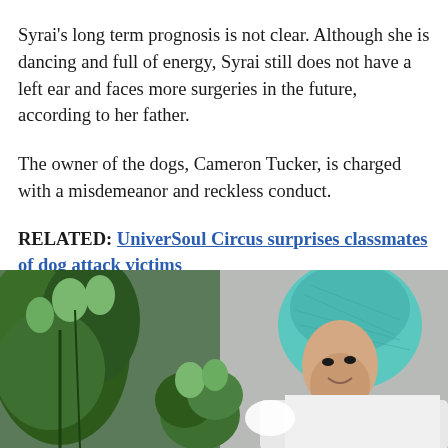Syrai's long term prognosis is not clear. Although she is dancing and full of energy, Syrai still does not have a left ear and faces more surgeries in the future, according to her father.
The owner of the dogs, Cameron Tucker, is charged with a misdemeanor and reckless conduct.
RELATED: UniverSoul Circus surprises classmates of dog attack victims
Taboola Feed
[Figure (photo): A woman wearing a teal/green hair net and white coat examining cannabis plants in what appears to be a cultivation facility.]